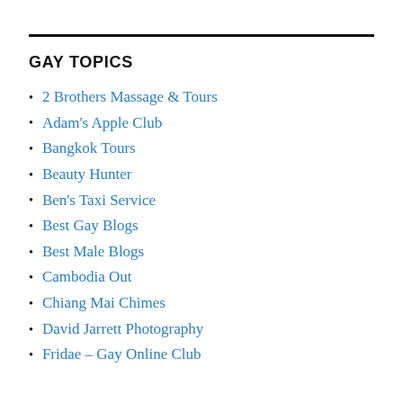GAY TOPICS
2 Brothers Massage & Tours
Adam's Apple Club
Bangkok Tours
Beauty Hunter
Ben's Taxi Service
Best Gay Blogs
Best Male Blogs
Cambodia Out
Chiang Mai Chimes
David Jarrett Photography
Fridae – Gay Online Club